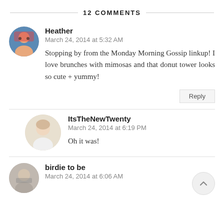12 COMMENTS
Heather
March 24, 2014 at 5:32 AM
Stopping by from the Monday Morning Gossip linkup! I love brunches with mimosas and that donut tower looks so cute + yummy!
ItsTheNewTwenty
March 24, 2014 at 6:19 PM
Oh it was!
birdie to be
March 24, 2014 at 6:06 AM